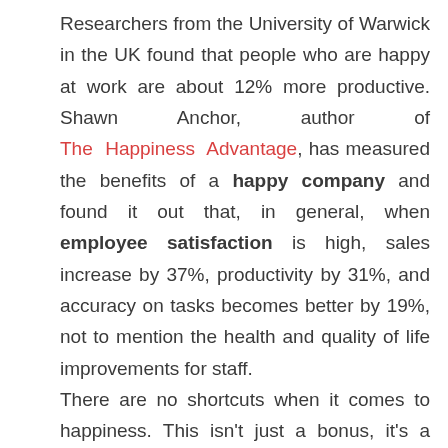Researchers from the University of Warwick in the UK found that people who are happy at work are about 12% more productive. Shawn Anchor, author of The Happiness Advantage, has measured the benefits of a happy company and found it out that, in general, when employee satisfaction is high, sales increase by 37%, productivity by 31%, and accuracy on tasks becomes better by 19%, not to mention the health and quality of life improvements for staff. There are no shortcuts when it comes to happiness. This isn't just a bonus, it's a requirement for any high-functioning workplace. Disengaged, unhappy people aren't any fun to work with and don't add much value to our organizations, and impact our organizations (and